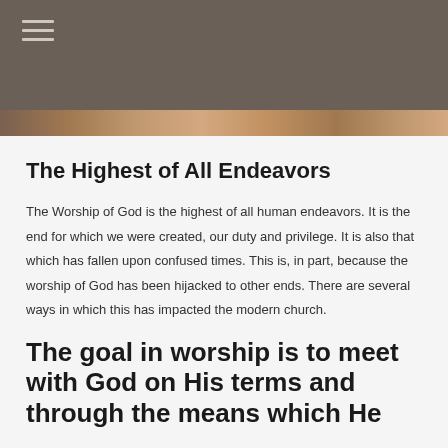≡
[Figure (photo): Partial photo strip visible at top of content area]
The Highest of All Endeavors
The Worship of God is the highest of all human endeavors. It is the end for which we were created, our duty and privilege. It is also that which has fallen upon confused times. This is, in part, because the worship of God has been hijacked to other ends. There are several ways in which this has impacted the modern church.
The goal in worship is to meet with God on His terms and through the means which He...